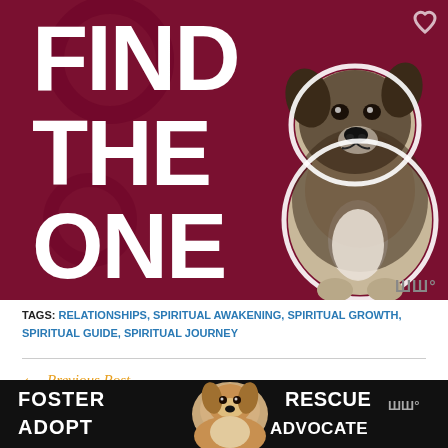[Figure (illustration): Dark red/maroon promotional banner image with large white bold text reading 'FIND THE ONE' and a brindle pit bull puppy dog standing on the right side with a white outline cutout. Small 'Wondery' logo watermark visible at bottom right.]
TAGS: RELATIONSHIPS, SPIRITUAL AWAKENING, SPIRITUAL GROWTH, SPIRITUAL GUIDE, SPIRITUAL JOURNEY
← Previous Post
Did Spirituality Turn into Another Egotistical Identity?
[Figure (illustration): Black bottom advertisement bar with white bold text 'FOSTER ADOPT' on the left and 'RESCUE ADVOCATE' on the right, featuring a beagle dog photo in the center, with a close X button and Wondery logo on the right side.]